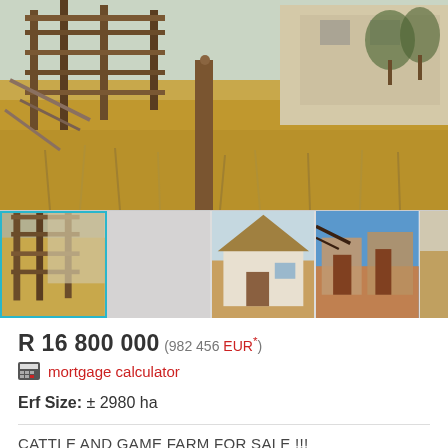[Figure (photo): Main photo of a rustic farm building with wooden scaffolding/framework, dry golden grass in the foreground, and a tan/beige structure in the background under blue sky.]
[Figure (photo): Thumbnail row: 1) selected thumbnail with cyan border showing wooden structure, 2) grey placeholder, 3) thatched-roof white building, 4) ruins/old stone building, 5) partially visible photo.]
R 16 800 000 (982 456 EUR*)
mortgage calculator
Erf Size: ± 2980 ha
CATTLE AND GAME FARM FOR SALE !!!